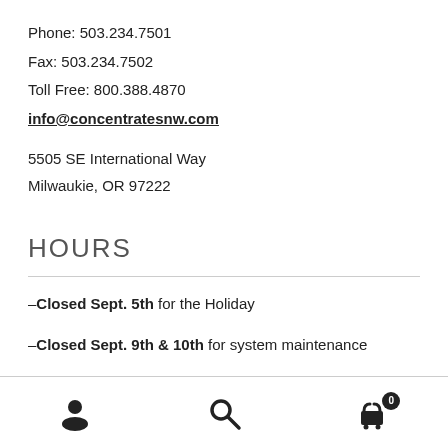Phone: 503.234.7501
Fax: 503.234.7502
Toll Free: 800.388.4870
info@concentratesnw.com
5505 SE International Way
Milwaukie, OR 97222
HOURS
–Closed Sept. 5th for the Holiday
–Closed Sept. 9th & 10th for system maintenance
[Figure (other): Bottom navigation bar with user icon, search icon, and cart icon with badge showing 0]